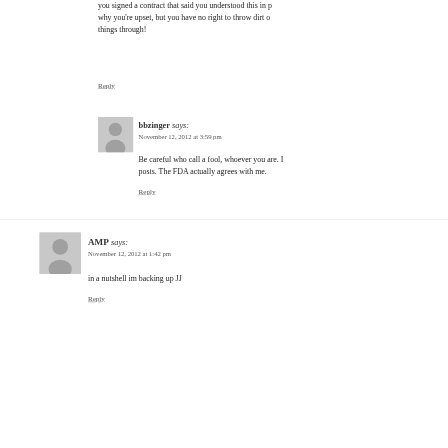you signed a contract that said you understood this in p... why you're upset, but you have no right to throw dirt o... things through!
Reply
bbzinger says: November 12, 2012 at 3:59 pm
Be careful who call a fool, whoever you are. I... posts. The FDA actually agrees with me.
Reply
AMP says: November 12, 2012 at 1:42 pm
in a nutshell im backing up JJ
Reply